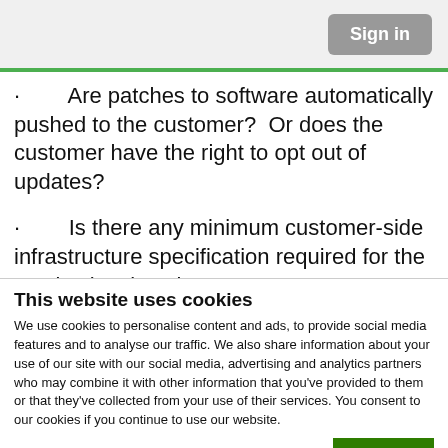Sign in
Are patches to software automatically pushed to the customer?  Or does the customer have the right to opt out of updates?
Is there any minimum customer-side infrastructure specification required for the service levels to be met?
This website uses cookies
We use cookies to personalise content and ads, to provide social media features and to analyse our traffic. We also share information about your use of our site with our social media, advertising and analytics partners who may combine it with other information that you've provided to them or that they've collected from your use of their services. You consent to our cookies if you continue to use our website.
OK
| Necessary | Preferences | Statistics | Show details |
| Marketing |  |  |  |